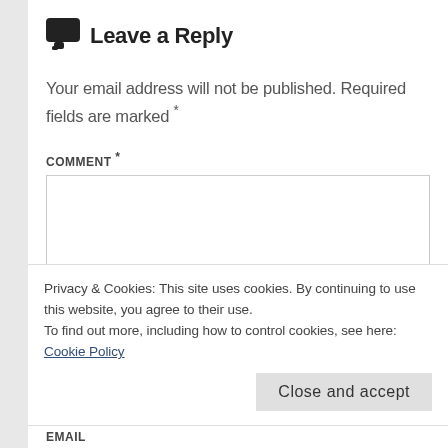Leave a Reply
Your email address will not be published. Required fields are marked *
COMMENT *
Privacy & Cookies: This site uses cookies. By continuing to use this website, you agree to their use.
To find out more, including how to control cookies, see here: Cookie Policy
Close and accept
EMAIL